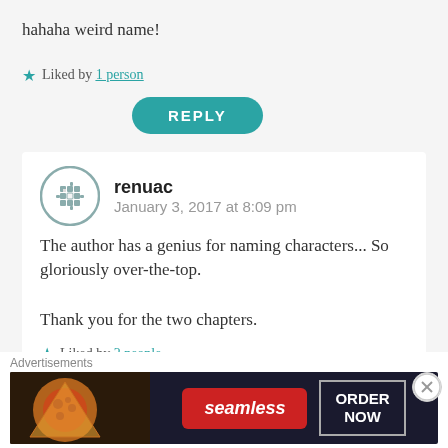hahaha weird name!
★ Liked by 1 person
[Figure (other): Teal rounded rectangle REPLY button]
[Figure (other): User avatar icon for renuac — gray geometric snowflake/grid pattern in circular border]
renuac
January 3, 2017 at 8:09 pm
The author has a genius for naming characters... So gloriously over-the-top.

Thank you for the two chapters.
★ Liked by 2 people
[Figure (other): Teal rounded rectangle REPLY button (partially visible)]
Advertisements
[Figure (other): Seamless food ordering advertisement banner with pizza image, red Seamless logo, and ORDER NOW button]